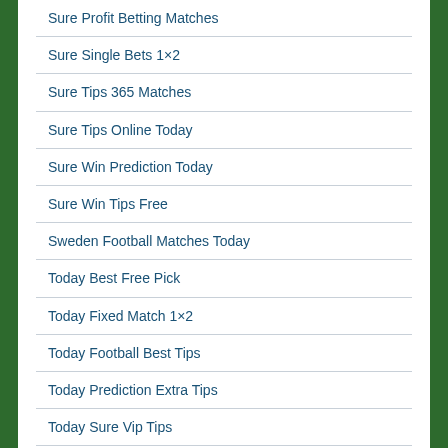Sure Profit Betting Matches
Sure Single Bets 1×2
Sure Tips 365 Matches
Sure Tips Online Today
Sure Win Prediction Today
Sure Win Tips Free
Sweden Football Matches Today
Today Best Free Pick
Today Fixed Match 1×2
Today Football Best Tips
Today Prediction Extra Tips
Today Sure Vip Tips
Uncategorized
United Kingdom Sure Matches
Verified Betting Fix Tips